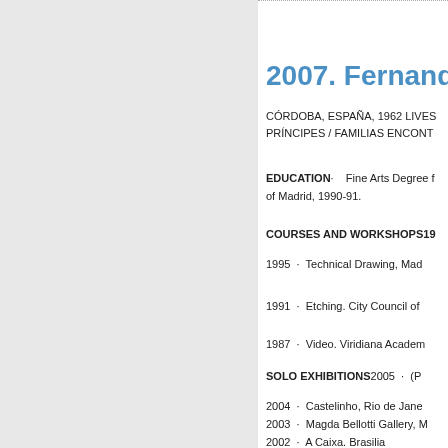2007. Fernando B
CÓRDOBA, ESPAÑA, 1962 LIVES
PRÍNCIPES / FAMILIAS ENCONT
EDUCATION·    Fine Arts Degree from the University of Madrid, 1990-91.
COURSES AND WORKSHOPS19
1995  ·  Technical Drawing, Mad
1991  ·  Etching. City Council of
1987  ·  Video. Viridiana Academ
SOLO EXHIBITIONS2005  ·  (P
2004  ·  Castelinho, Rio de Jane
2003  ·  Magda Bellotti Gallery, M
2002  ·  A Caixa. Brasilia